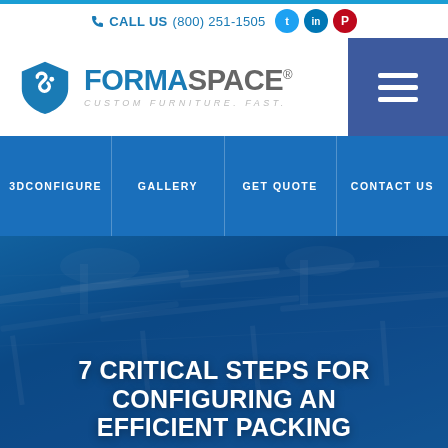CALL US (800) 251-1505
[Figure (logo): Formaspace logo with blue shield icon and text FORMASPACE CUSTOM FURNITURE. FAST. alongside a hamburger menu button]
3DCONFIGURE | GALLERY | GET QUOTE | CONTACT US
[Figure (photo): Factory/manufacturing floor with workbenches and industrial equipment shown with blue overlay tint]
7 CRITICAL STEPS FOR CONFIGURING AN EFFICIENT PACKING